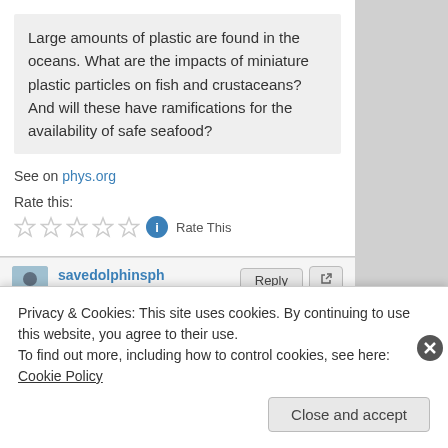Large amounts of plastic are found in the oceans. What are the impacts of miniature plastic particles on fish and crustaceans? And will these have ramifications for the availability of safe seafood?
See on phys.org
Rate this:
Rate This
savedolphinsph
7:54 am on December 4, 2013
See on Scoop.it – Earth Island Institute Philippines
Privacy & Cookies: This site uses cookies. By continuing to use this website, you agree to their use.
To find out more, including how to control cookies, see here: Cookie Policy
Close and accept